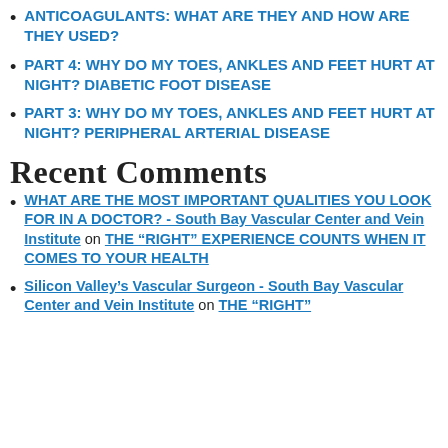ANTICOAGULANTS: WHAT ARE THEY AND HOW ARE THEY USED?
PART 4: WHY DO MY TOES, ANKLES AND FEET HURT AT NIGHT? DIABETIC FOOT DISEASE
PART 3: WHY DO MY TOES, ANKLES AND FEET HURT AT NIGHT? PERIPHERAL ARTERIAL DISEASE
Recent Comments
WHAT ARE THE MOST IMPORTANT QUALITIES YOU LOOK FOR IN A DOCTOR? - South Bay Vascular Center and Vein Institute on THE “RIGHT” EXPERIENCE COUNTS WHEN IT COMES TO YOUR HEALTH
Silicon Valley’s Vascular Surgeon - South Bay Vascular Center and Vein Institute on THE “RIGHT”